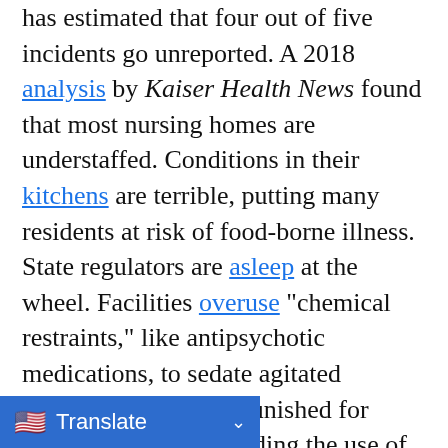has estimated that four out of five incidents go unreported. A 2018 analysis by Kaiser Health News found that most nursing homes are understaffed. Conditions in their kitchens are terrible, putting many residents at risk of food-borne illness. State regulators are asleep at the wheel. Facilities overuse "chemical restraints," like antipsychotic medications, to sedate agitated patients, and are not punished for breaking laws surrounding the use of such drugs. In some states, state legislators who write the laws regulating nursing homes also work for—you guessed it!—nursing homes.

The coronavirus era has plainly shown how unprepared nursing homes were to deal with such a huge crisis, but equally how many of them are eager to grift and skim, even in the direst times. The Federal [obscured] a warning recently that [obscured]